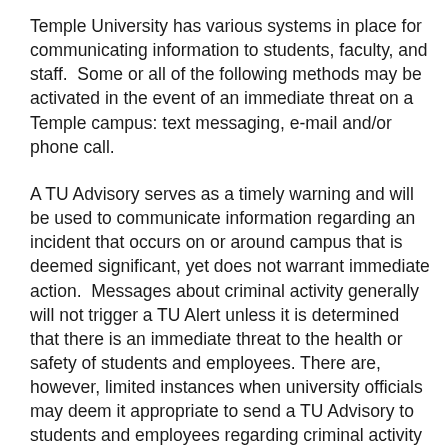Temple University has various systems in place for communicating information to students, faculty, and staff.  Some or all of the following methods may be activated in the event of an immediate threat on a Temple campus: text messaging, e-mail and/or phone call.
A TU Advisory serves as a timely warning and will be used to communicate information regarding an incident that occurs on or around campus that is deemed significant, yet does not warrant immediate action.  Messages about criminal activity generally will not trigger a TU Alert unless it is determined that there is an immediate threat to the health or safety of students and employees. There are, however, limited instances when university officials may deem it appropriate to send a TU Advisory to students and employees regarding criminal activity on or around campus that does not involve an immediate threat.  The message will be in the form of an e-mail.  All e-mails to students, faculty, and staff will be sent to their